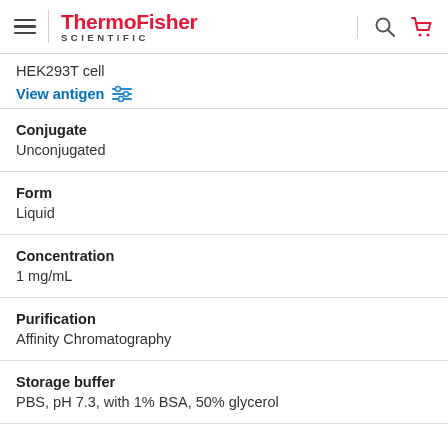ThermoFisher SCIENTIFIC
HEK293T cell
View antigen
Conjugate
Unconjugated
Form
Liquid
Concentration
1 mg/mL
Purification
Affinity Chromatography
Storage buffer
PBS, pH 7.3, with 1% BSA, 50% glycerol